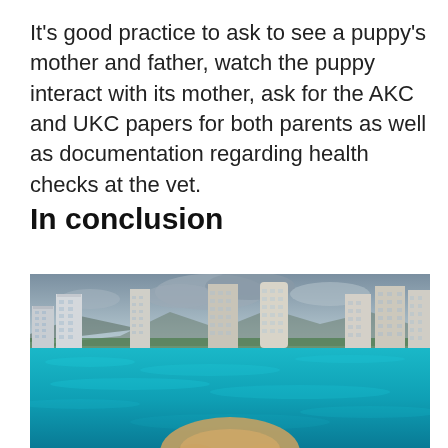It's good practice to ask to see a puppy's mother and father, watch the puppy interact with its mother, ask for the AKC and UKC papers for both parents as well as documentation regarding health checks at the vet.
In conclusion
[Figure (photo): Photo of a coastal cityscape with tall high-rise buildings against a cloudy sky, with bright turquoise ocean water in the foreground and what appears to be the top of a dog's head at the bottom of the image.]